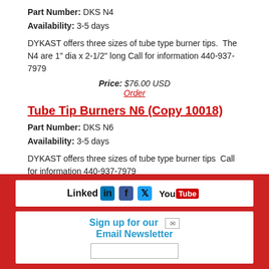Part Number: DKS N4
Availability: 3-5 days
DYKAST offers three sizes of tube type burner tips.  The N4 are 1" dia x 2-1/2" long Call for information 440-937-7979
Price: $76.00 USD
Order
Tube Tip Burners N6 (Copy 10018)
Part Number: DKS N6
Availability: 3-5 days
DYKAST offers three sizes of tube type burner tips  Call for information 440-937-7979
Price: $91.00 USD
Order
[Figure (infographic): Social media icons: LinkedIn, Facebook, Twitter, YouTube]
Sign up for our Email Newsletter